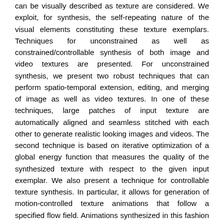can be visually described as texture are considered. We exploit, for synthesis, the self-repeating nature of the visual elements constituting these texture exemplars. Techniques for unconstrained as well as constrained/controllable synthesis of both image and video textures are presented. For unconstrained synthesis, we present two robust techniques that can perform spatio-temporal extension, editing, and merging of image as well as video textures. In one of these techniques, large patches of input texture are automatically aligned and seamless stitched with each other to generate realistic looking images and videos. The second technique is based on iterative optimization of a global energy function that measures the quality of the synthesized texture with respect to the given input exemplar. We also present a technique for controllable texture synthesis. In particular, it allows for generation of motion-controlled texture animations that follow a specified flow field. Animations synthesized in this fashion maintain the structural properties like local shape, size, and orientation of the input texture even as they move according to the specified flow. We cast this problem into an optimization framework that tries to simultaneously satisfy the two (potentially competing) objectives of similarity to the input texture and consistency with the flow field. This